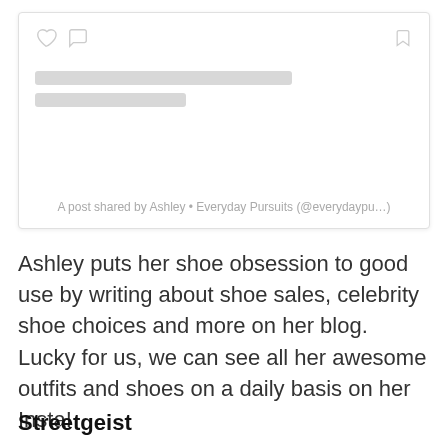[Figure (screenshot): Instagram embed card showing a post shared by Ashley • Everyday Pursuits (@everydaypu...). Card contains heart and comment icons on left, bookmark icon on right, two gray placeholder content lines, and attribution text at bottom.]
Ashley puts her shoe obsession to good use by writing about shoe sales, celebrity shoe choices and more on her blog. Lucky for us, we can see all her awesome outfits and shoes on a daily basis on her Insta!
Streetgeist